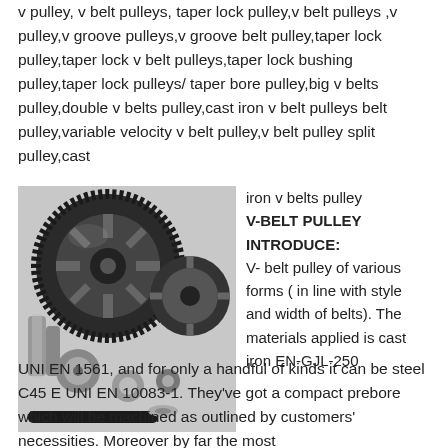v pulley, v belt pulleys, taper lock pulley,v belt pulleys ,v pulley,v groove pulleys,v groove belt pulley,taper lock pulley,taper lock v belt pulleys,taper lock bushing pulley,taper lock pulleys/taper bore pulley,big v belts pulley,double v belts pulley,cast iron v belt pulleys belt pulley,variable velocity v belt pulley,v belt pulley split pulley,cast iron v belts pulley
[Figure (photo): Black and white photograph showing a collection of various v-belt pulleys and related components including toothed pulleys, timing pulleys, v-groove pulleys, and belts of different sizes arranged together.]
V-BELT PULLEY INTRODUCE:
V- belt pulley of various forms ( in line with style and width of belts). The materials applied is cast iron EN-GJL-250 UNI EN 1561, and for only a handful of kinds it can be steel C45 E UNI EN 10083-1. They've got a compact prebore which will be machined as outlined by customers' necessities. Moreover by far the most